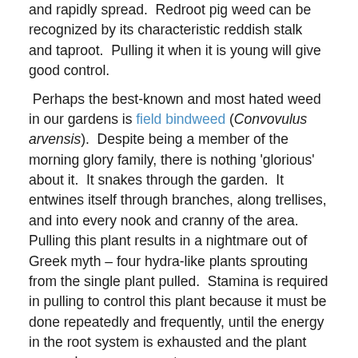and rapidly spread. Redroot pig weed can be recognized by its characteristic reddish stalk and taproot. Pulling it when it is young will give good control.
Perhaps the best-known and most hated weed in our gardens is field bindweed (Convovulus arvensis). Despite being a member of the morning glory family, there is nothing 'glorious' about it. It snakes through the garden. It entwines itself through branches, along trellises, and into every nook and cranny of the area. Pulling this plant results in a nightmare out of Greek myth – four hydra-like plants sprouting from the single plant pulled. Stamina is required in pulling to control this plant because it must be done repeatedly and frequently, until the energy in the root system is exhausted and the plant can no longer regenerate.